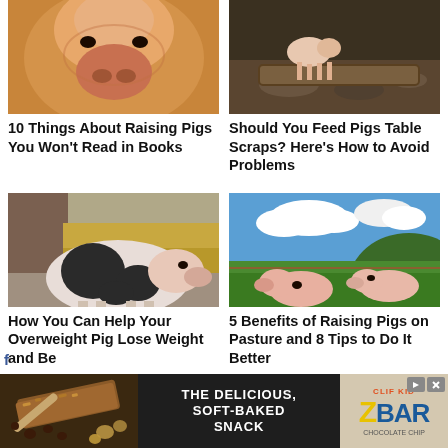[Figure (photo): Close-up photo of a pig's face/snout, warm orange-brown tones]
[Figure (photo): Photo of a small piglet near a feeding trough with soil/rocks]
10 Things About Raising Pigs You Won’t Read in Books
Should You Feed Pigs Table Scraps? Here’s How to Avoid Problems
[Figure (photo): Photo of a large black-and-white pot-bellied pig on pavement near a barn]
[Figure (photo): Photo of two pink pigs on green pasture with blue sky and clouds]
How You Can Help Your Overweight Pig Lose Weight and Be
5 Benefits of Raising Pigs on Pasture and 8 Tips to Do It Better
[Figure (photo): Advertisement banner: THE DELICIOUS, SOFT-BAKED SNACK with CLIF Kid ZBAR chocolate chip product image]